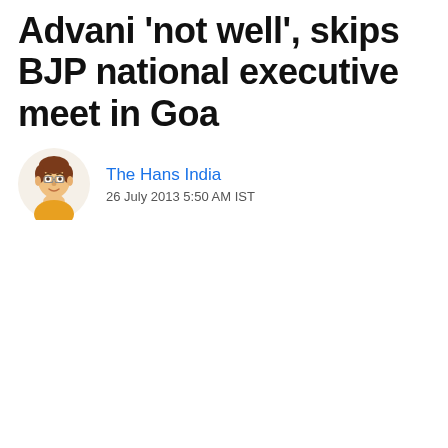Advani 'not well', skips BJP national executive meet in Goa
The Hans India
26 July 2013 5:50 AM IST